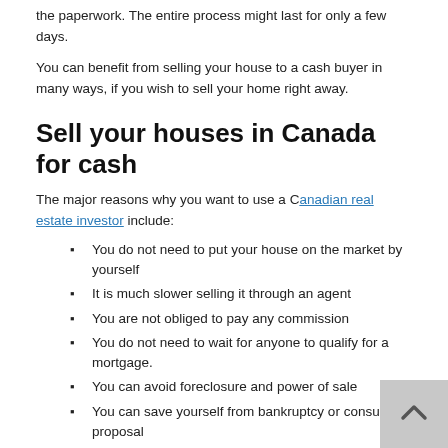the paperwork. The entire process might last for only a few days.
You can benefit from selling your house to a cash buyer in many ways, if you wish to sell your home right away.
Sell your houses in Canada for cash
The major reasons why you want to use a Canadian real estate investor include:
You do not need to put your house on the market by yourself
It is much slower selling it through an agent
You are not obliged to pay any commission
You do not need to wait for anyone to qualify for a mortgage.
You can avoid foreclosure and power of sale
You can save yourself from bankruptcy or consumers proposal
You are not required to set appointments with buyers
Avoid paying real estate commission since you are